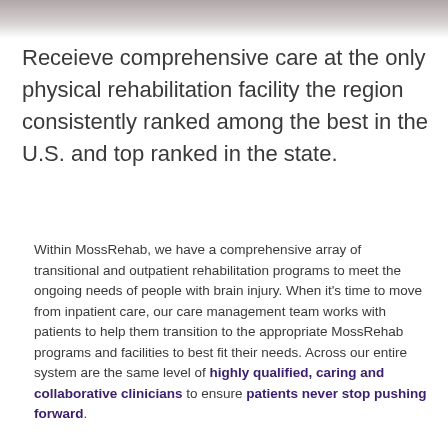[Figure (photo): Partial photo strip showing a medical/rehabilitation scene at the top of the page]
Receieve comprehensive care at the only physical rehabilitation facility the region consistently ranked among the best in the U.S. and top ranked in the state.
Within MossRehab, we have a comprehensive array of transitional and outpatient rehabilitation programs to meet the ongoing needs of people with brain injury. When it's time to move from inpatient care, our care management team works with patients to help them transition to the appropriate MossRehab programs and facilities to best fit their needs. Across our entire system are the same level of highly qualified, caring and collaborative clinicians to ensure patients never stop pushing forward.